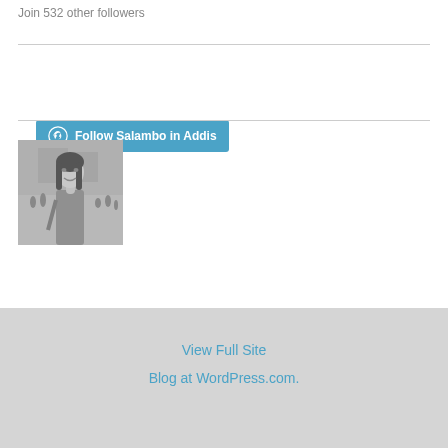Join 532 other followers
[Figure (other): Blue WordPress follow button with WordPress logo icon and text 'Follow Salambo in Addis']
[Figure (photo): Black and white photo of a woman smiling in front of a large building with crowds of people]
View Full Site
Blog at WordPress.com.